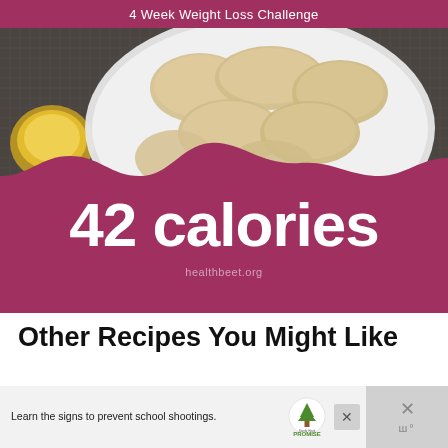4 Week Weight Loss Challenge
[Figure (infographic): Photo of biscuits on a white plate with a yellow dipping sauce, overlaid with a purple/magenta banner reading '42 calories' and 'healthbeet.org']
Other Recipes You Might Like
[Figure (screenshot): Advertisement bar: 'Learn the signs to prevent school shootings.' with Sandy Hook Promise logo, close buttons on right]